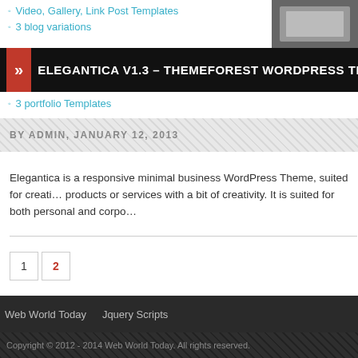Video, Gallery, Link Post Templates
ELEGANTICA V1.3 – THEMEFOREST WORDPRESS THE…
3 portfolio Templates
BY ADMIN, JANUARY 12, 2013
Elegantica is a responsive minimal business WordPress Theme, suited for creati… products or services with a bit of creativity. It is suited for both personal and corpo…
1  2
Web World Today   Jquery Scripts
Copyright © 2012 - 2014 Web World Today. All rights reserved.